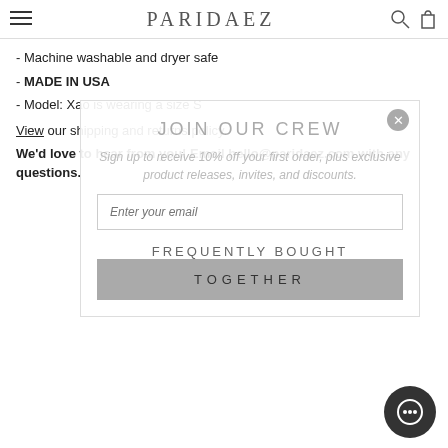PARIDAEZ
- Machine washable and dryer safe
- MADE IN USA
- Model: Xao is wearing a size S
View our shipping and returns policy
We'd love to hear from you! Email hello@paridaez.com with any questions.
[Figure (screenshot): Modal popup: JOIN OUR CREW - Sign up to receive 10% off your first order, plus exclusive product releases, invites, and discounts. Email input field. Close button (X) in top right corner.]
FREQUENTLY BOUGHT TOGETHER
TOGETHER (button)